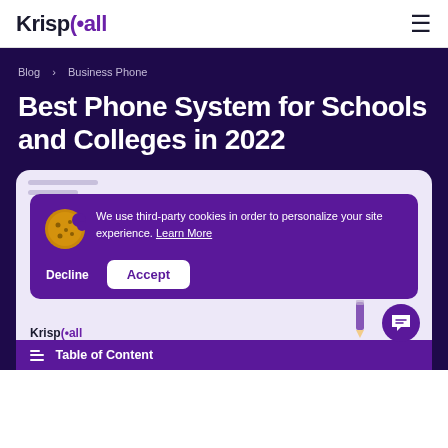KrispCall
Blog > Business Phone
Best Phone System for Schools and Colleges in 2022
[Figure (screenshot): Cookie consent dialog overlay on a webpage with purple background, showing a cookie emoji icon, text about third-party cookies, Learn More link, Decline and Accept buttons, and a Table of Content bar at the bottom. KrispCall logo visible at bottom left.]